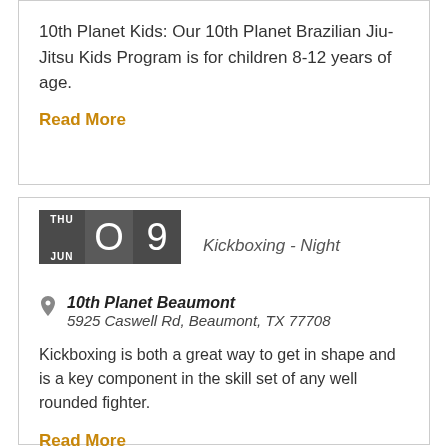10th Planet Kids: Our 10th Planet Brazilian Jiu-Jitsu Kids Program is for children 8-12 years of age.
Read More
Kickboxing - Night
10th Planet Beaumont
5925 Caswell Rd, Beaumont, TX 77708
Kickboxing is both a great way to get in shape and is a key component in the skill set of any well rounded fighter.
Read More